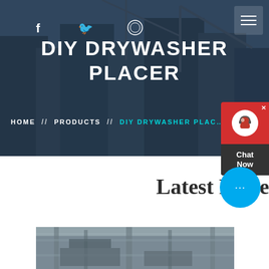DIY DRYWASHER PLACER
HOME // PRODUCTS // DIY DRYWASHER PLACER
Latest Projects
[Figure (photo): Industrial or construction site building photo at bottom of page]
[Figure (screenshot): Chat Now customer support widget on right side, with headset icon and chat bubble]